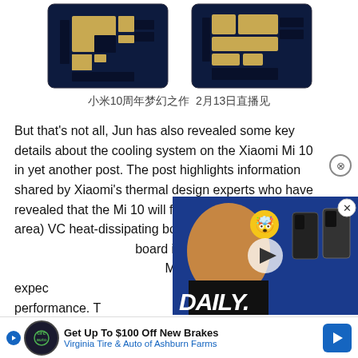[Figure (photo): Two dark blue chip/processor module images side by side on white background]
小米10周年梦幻之作  2月13日直播见
But that's not all, Jun has also revealed some key details about the cooling system on the Xiaomi Mi 10 in yet another post. The post highlights information shared by Xiaomi's thermal design experts who have revealed that the Mi 10 will feature the largest (by area) VC heat-dissipating board in any smartphone. This heat-dissipating board is almost three times the size of that on the Huawei Mate 30 Pro 5G and it's expected to greatly improve the Mi 10's thermal performance. To boost the thermal efficiency even further, Xiaomi has also added multiple heat dissipation material to more effectively disperse the heat from core components. The larger heat-dissipating board will also include a so-called "nano-silver" thermal interface material, being almost
[Figure (screenshot): Video overlay showing a man with a DAILY. banner and two Pixel phones]
[Figure (other): Advertisement overlay: Get Up To $100 Off New Brakes - Virginia Tire & Auto of Ashburn Farms]